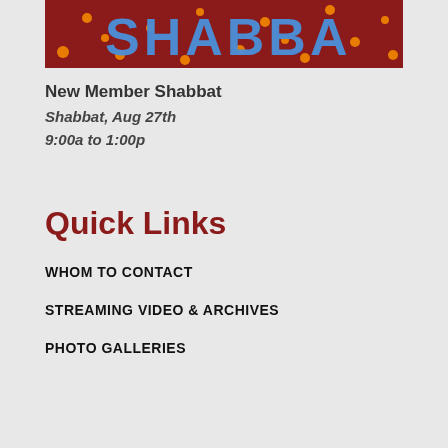[Figure (illustration): Red background image with orange dots/circles and blue text reading 'SHABBAT' partially visible]
New Member Shabbat
Shabbat, Aug 27th
9:00a to 1:00p
Quick Links
WHOM TO CONTACT
STREAMING VIDEO & ARCHIVES
PHOTO GALLERIES